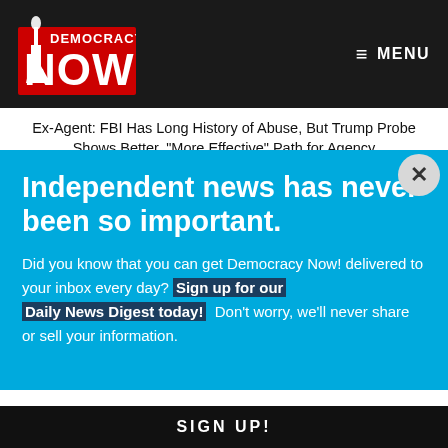[Figure (logo): Democracy Now! logo - red and white with Statue of Liberty torch icon]
≡ MENU
Ex-Agent: FBI Has Long History of Abuse, But Trump Probe Shows Better, "More Effective" Path for Agency
Independent news has never been so important.
Did you know that you can get Democracy Now! delivered to your inbox every day? Sign up for our Daily News Digest today! Don't worry, we'll never share or sell your information.
EMAIL
SIGN UP!